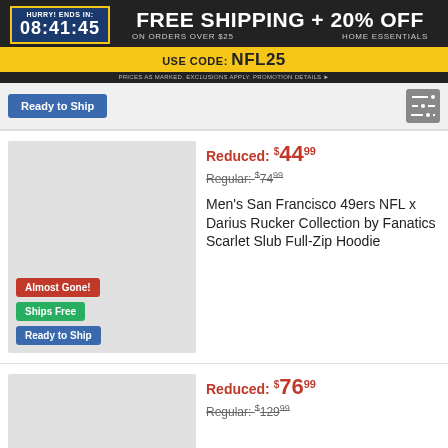FREE SHIPPING + 20% OFF ON ORDERS OVER $25 HOME ESSENTIALS USE CODE: NFL25 PRICES AS MARKED. EXCLUSIONS APPLY. PROMOTION DETAILS > HURRY! ENDS IN: 08:41:45
Ready to Ship
Reduced: $44.99
Regular: $74.99
Men's San Francisco 49ers NFL x Darius Rucker Collection by Fanatics Scarlet Slub Full-Zip Hoodie
Almost Gone!
Ships Free
Ready to Ship
Reduced: $76.99
Regular: $129.99